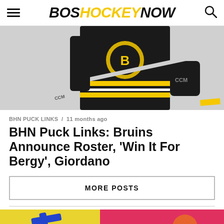BOSHOCKEYNOW
[Figure (photo): Boston Bruins hockey player in black and gold uniform skating on ice, holding a hockey stick, close-up torso shot]
BHN PUCK LINKS / 11 months ago
BHN Puck Links: Bruins Announce Roster, ‘Win It For Bergy’, Giordano
MORE POSTS
[Figure (photo): Colorful partial image showing toys or objects in yellow, pink/red, and orange/red colors — beginning of next article thumbnail]